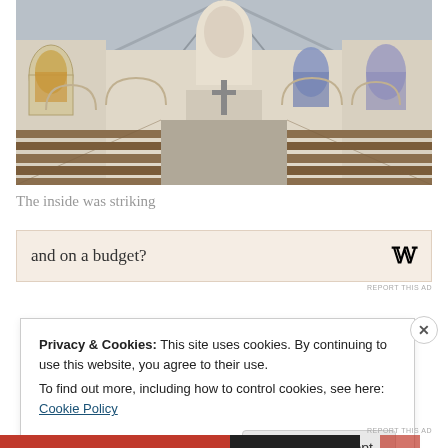[Figure (photo): Interior of a church showing wooden pews on both sides, arched windows with stained glass, a central aisle leading to the altar with a cross, and a vaulted ceiling]
The inside was striking
[Figure (other): Advertisement banner with text 'and on a budget?' and a stylized W logo on a light peach/cream background]
Privacy & Cookies: This site uses cookies. By continuing to use this website, you agree to their use.
To find out more, including how to control cookies, see here: Cookie Policy
Close and accept